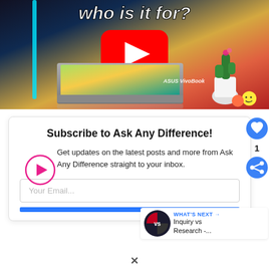[Figure (screenshot): YouTube video thumbnail showing ASUS VivoBook laptop with text 'who is it for?' and a YouTube play button overlay. Colorful background with laptop, cactus plant, and decorative items.]
Subscribe to Ask Any Difference!
Get updates on the latest posts and more from Ask Any Difference straight to your inbox.
Your Email...
WHAT'S NEXT → Inquiry vs Research -...